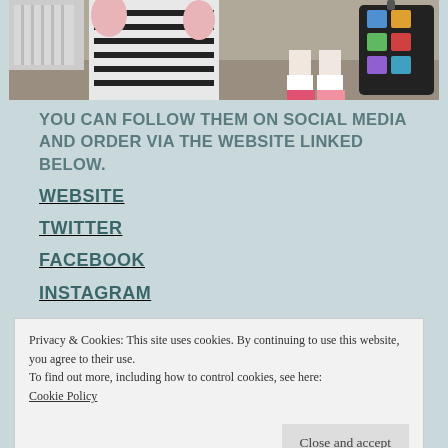[Figure (photo): Children playing, one wearing a striped shirt, with a black suitcase covered in stickers visible in the background]
YOU CAN FOLLOW THEM ON SOCIAL MEDIA AND ORDER VIA THE WEBSITE LINKED BELOW.
WEBSITE
TWITTER
FACEBOOK
INSTAGRAM
Privacy & Cookies: This site uses cookies. By continuing to use this website, you agree to their use.
To find out more, including how to control cookies, see here:
Cookie Policy
Close and accept